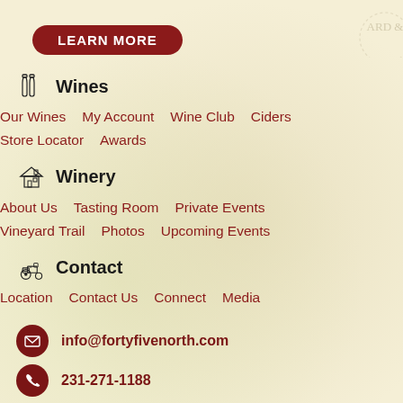[Figure (other): Learn More button (dark red rounded rectangle with white bold text)]
[Figure (logo): Partial circular logo/stamp with text ARD & in arc, top right corner]
Wines
Our Wines    My Account    Wine Club    Ciders    Store Locator    Awards
Winery
About Us    Tasting Room    Private Events    Vineyard Trail    Photos    Upcoming Events
Contact
Location    Contact Us    Connect    Media
info@fortyfivenorth.com
231-271-1188
@fortyfivenorth